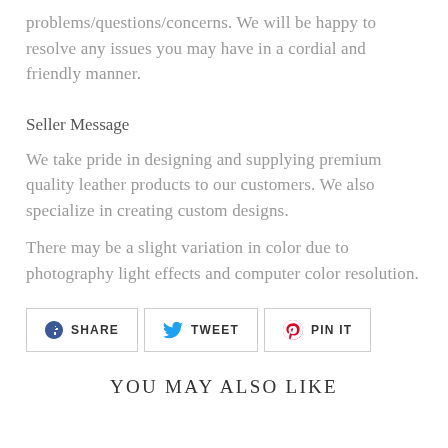problems/questions/concerns. We will be happy to resolve any issues you may have in a cordial and friendly manner.
Seller Message
We take pride in designing and supplying premium quality leather products to our customers. We also specialize in creating custom designs.
There may be a slight variation in color due to photography light effects and computer color resolution.
SHARE  TWEET  PIN IT
YOU MAY ALSO LIKE